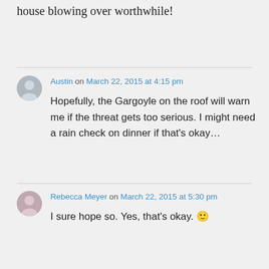Well I'm glad that would make your house blowing over worthwhile!
Austin on March 22, 2015 at 4:15 pm
Hopefully, the Gargoyle on the roof will warn me if the threat gets too serious. I might need a rain check on dinner if that's okay…
Rebecca Meyer on March 22, 2015 at 5:30 pm
I sure hope so. Yes, that's okay. 🙂